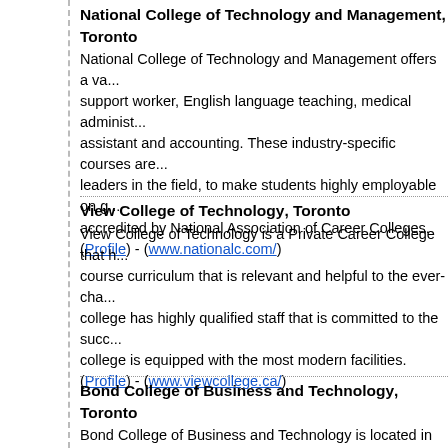National College of Technology and Management, Toronto
National College of Technology and Management offers a va... support worker, English language teaching, medical administ... assistant and accounting. These industry-specific courses are... leaders in the field, to make students highly employable on g... accredited by National Association of Career Colleges.
(Profile) - (www.nationalc.com/)
View College of Technology, Toronto
View College of Technology is a Private Career College that h... course curriculum that is relevant and helpful to the ever-cha... college has highly qualified staff that is committed to the succ... college is equipped with the most modern facilities.
(Profile) - (www.viewcollege.ca/)
Bond College of Business and Technology, Toronto
Bond College of Business and Technology is located in the ci... registered and approved as a Private Career College. The co... postgraduate diplomas and certificates in different fields of bu... earned through some courses are transferable towards a uni...